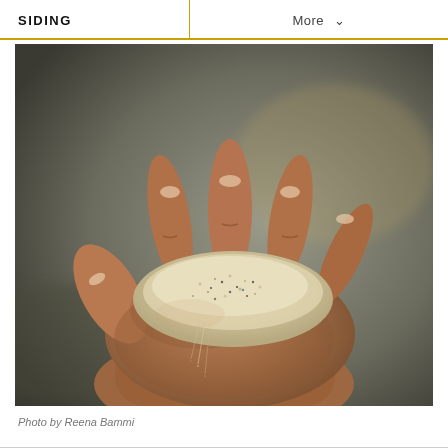SIDING   More
[Figure (photo): Close-up photograph of a human hand cupping a pile of granular material (sand or fine aggregate), with some material trickling through the fingers, set against a blurred dark background.]
Photo by Reena Bammi